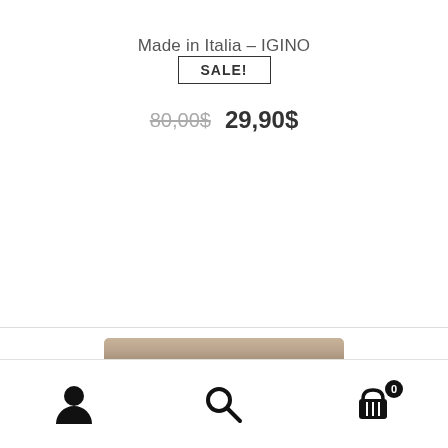Made in Italia – IGINO
SALE!
80,00$ 29,90$
[Figure (photo): Partial view of a leather product (bag/clutch) in tan/taupe color at the bottom of the page]
User account icon, Search icon, Shopping cart icon with badge showing 0